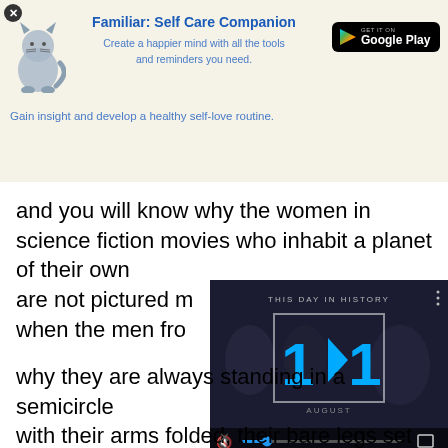[Figure (screenshot): Close button (X) in top-left corner]
[Figure (advertisement): Ad banner for 'Familiar: Self Care Companion' app with cat illustration and Google Play button]
and you will know why the women in science fiction movies who inhabit a planet of their own
are not pictured m... magazine
when the men fro... rocket,
[Figure (screenshot): Video player overlay showing 'THIS DAY IN HISTORY' with date 11 AUGUST, play button, mute icon, progress bar, and fullscreen button]
why they are always standing in a semicircle
with their arms folded, their bare legs set